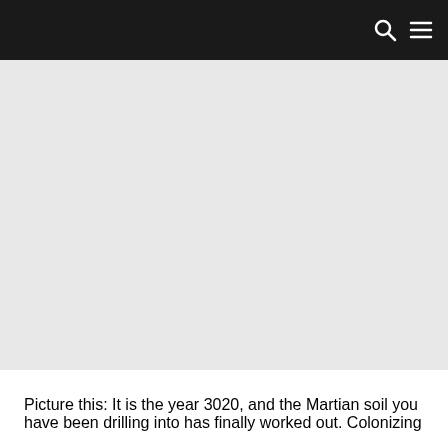[Figure (other): Light gray placeholder image area beneath a dark navigation bar]
Picture this: It is the year 3020, and the Martian soil you have been drilling into has finally worked out. Colonizing